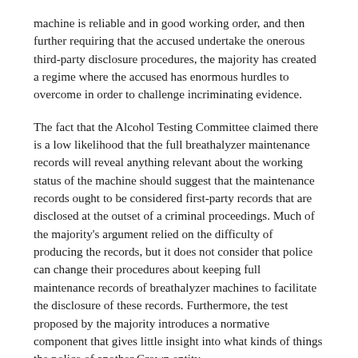machine is reliable and in good working order, and then further requiring that the accused undertake the onerous third-party disclosure procedures, the majority has created a regime where the accused has enormous hurdles to overcome in order to challenge incriminating evidence.
The fact that the Alcohol Testing Committee claimed there is a low likelihood that the full breathalyzer maintenance records will reveal anything relevant about the working status of the machine should suggest that the maintenance records ought to be considered first-party records that are disclosed at the outset of a criminal proceedings. Much of the majority's argument relied on the difficulty of producing the records, but it does not consider that police can change their procedures about keeping full maintenance records of breathalyzer machines to facilitate the disclosure of these records. Furthermore, the test proposed by the majority introduces a normative component that gives little insight into what kinds of things the police of another Crown entity